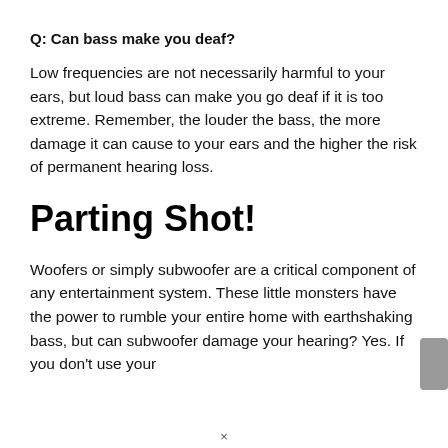Q: Can bass make you deaf?
Low frequencies are not necessarily harmful to your ears, but loud bass can make you go deaf if it is too extreme. Remember, the louder the bass, the more damage it can cause to your ears and the higher the risk of permanent hearing loss.
Parting Shot!
Woofers or simply subwoofer are a critical component of any entertainment system. These little monsters have the power to rumble your entire home with earthshaking bass, but can subwoofer damage your hearing? Yes. If you don't use your...